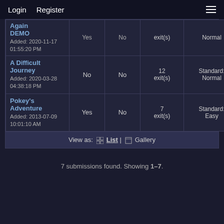Login  Register
| Name |  |  | Exits | Difficulty |  |
| --- | --- | --- | --- | --- | --- |
| Again DEMO
Added: 2020-11-17 01:55:20 PM | Yes | No | exit(s) | Normal |  |
| A Difficult Journey
Added: 2020-03-28 04:38:18 PM | No | No | 12 exit(s) | Standard: Normal |  |
| Pokey's Adventure
Added: 2013-07-09 10:01:10 AM | Yes | No | 7 exit(s) | Standard: Easy |  |
View as: List | Gallery
7 submissions found. Showing 1–7.